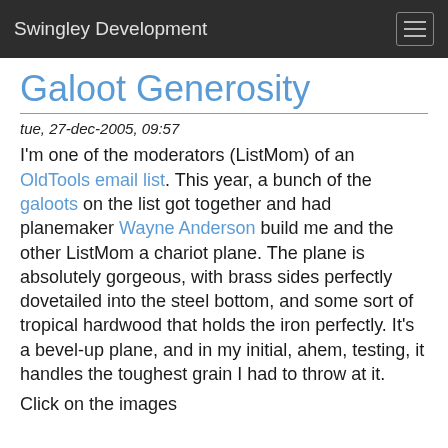Swingley Development
Galoot Generosity
tue, 27-dec-2005, 09:57
I'm one of the moderators (ListMom) of an OldTools email list. This year, a bunch of the galoots on the list got together and had planemaker Wayne Anderson build me and the other ListMom a chariot plane. The plane is absolutely gorgeous, with brass sides perfectly dovetailed into the steel bottom, and some sort of tropical hardwood that holds the iron perfectly. It's a bevel-up plane, and in my initial, ahem, testing, it handles the toughest grain I had to throw at it.
Click on the images